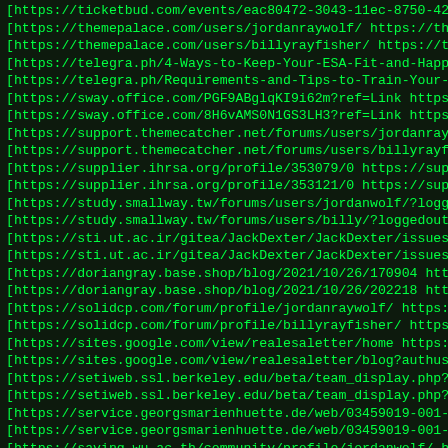[https://ticketbud.com/events/eac80472-3043-11ec-8750-42010... [https://themepalace.com/users/jordanraywolf/ https://theme... [https://themepalace.com/users/billyrayfisher/ https://them... [https://telegra.ph/4-Ways-to-Keep-Your-ESA-Fit-and-Happy-1... [https://telegra.ph/Requirements-and-Tips-to-Train-Your-ESA... [https://sway.office.com/PGF9ABglqKI9i62m?ref=Link https://... [https://sway.office.com/8H6vAMS0N1GS3LH3?ref=Link https://... [https://support.themecatcher.net/forums/users/jordanraywol... [https://support.themecatcher.net/forums/users/billyrayfish... [https://supplier.ihrsa.org/profile/353079/0 https://suppli... [https://supplier.ihrsa.org/profile/353121/0 https://suppli... [https://study.smallway.tw/forums/users/jordanwolf/?logoedo... [https://study.smallway.tw/forums/users/billy/?loggedout=tr... [https://sti.ut.ac.ir/gitea/JackDexter/JackDexter/issues/67... [https://sti.ut.ac.ir/gitea/JackDexter/JackDexter/issues/68... [https://doriangray.base.shop/blog/2021/10/26/170904 https:... [https://doriangray.base.shop/blog/2021/10/26/202218 https:... [https://solidcp.com/forum/profile/jordanraywolf/ https://s... [https://solidcp.com/forum/profile/billyrayfisher/ https://... [https://sites.google.com/view/realesaletter/home https://s... [https://sites.google.com/view/realesaletter/blog?authuser=... [https://setiweb.ssl.berkeley.edu/beta/team_display.php?tea... [https://setiweb.ssl.berkeley.edu/beta/team_display.php?tea... [https://service.georgsmarienhuette.de/web/03459019-001-000... [https://service.georgsmarienhuette.de/web/03459019-001-000... [https://saving.wu.ac.th/community/profile/jordanwolf/ http... [https://saving.wu.ac.th/community/profile/billyrayfisher/... [https://riuso.comune.salerno.it/snippets/3331 https://rius... [https://riuso.comune.salerno.it/snippets/3336 https://rius... [https://repo.getmonero.org/uploads/-/system/personal_snipp...